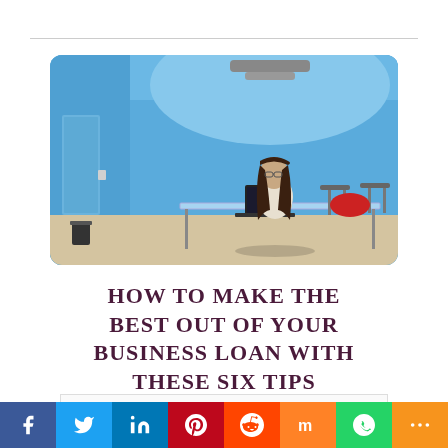[Figure (photo): Woman with long hair sitting at a glass desk with a laptop in a bright blue-painted room/studio space]
HOW TO MAKE THE BEST OUT OF YOUR BUSINESS LOAN WITH THESE SIX TIPS
Social share bar with Facebook, Twitter, LinkedIn, Pinterest, Reddit, Mix, WhatsApp, and More buttons